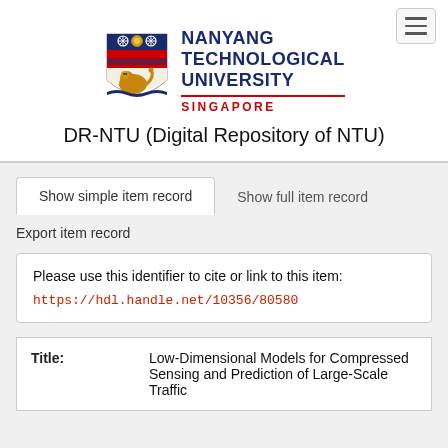[Figure (logo): Nanyang Technological University Singapore logo with shield crest and text]
DR-NTU (Digital Repository of NTU)
Show simple item record
Show full item record
Export item record
Please use this identifier to cite or link to this item:
https://hdl.handle.net/10356/80580
| Field | Value |
| --- | --- |
| Title: | Low-Dimensional Models for Compressed Sensing and Prediction of Large-Scale Traffic Da... |